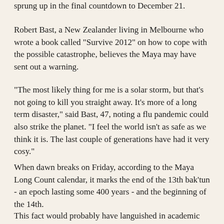sprung up in the final countdown to December 21.
Robert Bast, a New Zealander living in Melbourne who wrote a book called "Survive 2012" on how to cope with the possible catastrophe, believes the Maya may have sent out a warning.
"The most likely thing for me is a solar storm, but that's not going to kill you straight away. It's more of a long term disaster," said Bast, 47, noting a flu pandemic could also strike the planet. "I feel the world isn't as safe as we think it is. The last couple of generations have had it very cosy."
When dawn breaks on Friday, according to the Maya Long Count calendar, it marks the end of the 13th bak'tun - an epoch lasting some 400 years - and the beginning of the 14th.
This fact would probably have languished in academic obscurity had not a young Maya expert named Michael Coe written in the 1960s that to the ancient Mesoamerican culture the date could herald an "Armageddon" to cleanse humanity.
Since then, the cult of 2012 has snowballed